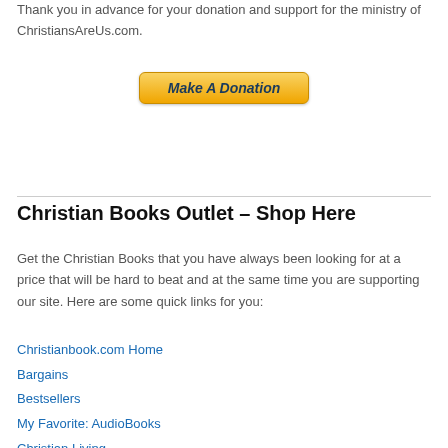Thank you in advance for your donation and support for the ministry of ChristiansAreUs.com.
[Figure (other): PayPal Make A Donation button]
Christian Books Outlet – Shop Here
Get the Christian Books that you have always been looking for at a price that will be hard to beat and at the same time you are supporting our site. Here are some quick links for you:
Christianbook.com Home
Bargains
Bestsellers
My Favorite: AudioBooks
Christian Living
Bibles